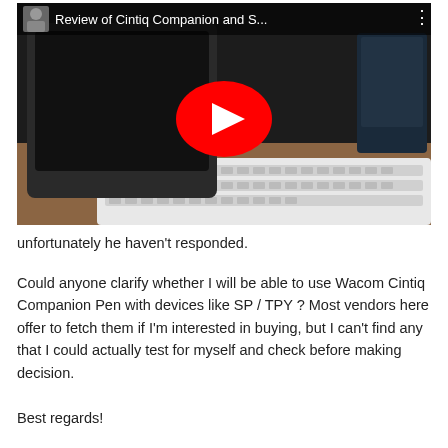[Figure (screenshot): YouTube video thumbnail showing a Wacom Cintiq Companion tablet and keyboard. The video title reads 'Review of Cintiq Companion and S...' with a user avatar in the top left and a red YouTube play button centered on the image.]
unfortunately he haven't responded.
Could anyone clarify whether I will be able to use Wacom Cintiq Companion Pen with devices like SP / TPY ? Most vendors here offer to fetch them if I'm interested in buying, but I can't find any that I could actually test for myself and check before making decision.
Best regards!